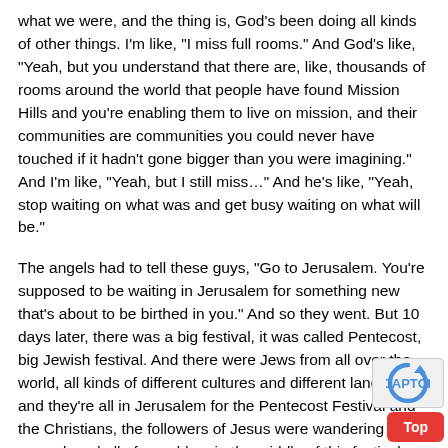what we were, and the thing is, God's been doing all kinds of other things. I'm like, "I miss full rooms." And God's like, "Yeah, but you understand that there are, like, thousands of rooms around the world that people have found Mission Hills and you're enabling them to live on mission, and their communities are communities you could never have touched if it hadn't gone bigger than you were imagining." And I'm like, "Yeah, but I still miss…" And he's like, "Yeah, stop waiting on what was and get busy waiting on what will be."
The angels had to tell these guys, "Go to Jerusalem. You're supposed to be waiting in Jerusalem for something new that's about to be birthed in you." And so they went. But 10 days later, there was a big festival, it was called Pentecost, big Jewish festival. And there were Jews from all over the world, all kinds of different cultures and different languages, and they're all in Jerusalem for the Pentecost Festival and the Christians, the followers of Jesus were wandering around, and all of a sudden, in the middle of this festival, the Holy Spirit came on them, ju... Jesus promised. The Holy Spirit came down on them, and began to speak in tongues, is how the Bible describes it. A... that context, it's pretty clear that tongues meant they were